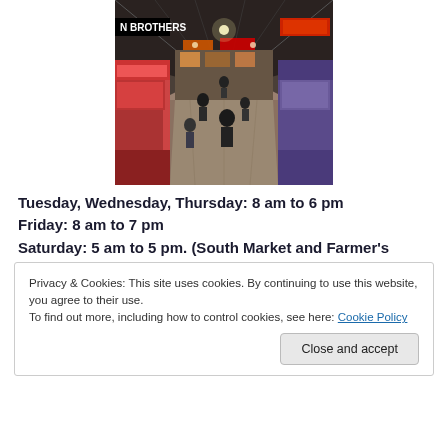[Figure (photo): Interior of a covered market hall with stalls on either side, shoppers walking through a wide central aisle, colorful vendor signs including 'N Brothers', overhead industrial ceiling structure.]
Tuesday, Wednesday, Thursday: 8 am to 6 pm
Friday: 8 am to 7 pm
Saturday: 5 am to 5 pm. (South Market and Farmer's
Privacy & Cookies: This site uses cookies. By continuing to use this website, you agree to their use.
To find out more, including how to control cookies, see here: Cookie Policy
Close and accept